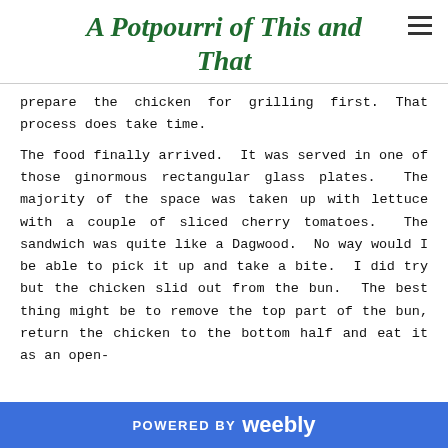A Potpourri of This and That
prepare the chicken for grilling first. That process does take time.
The food finally arrived. It was served in one of those ginormous rectangular glass plates. The majority of the space was taken up with lettuce with a couple of sliced cherry tomatoes. The sandwich was quite like a Dagwood. No way would I be able to pick it up and take a bite. I did try but the chicken slid out from the bun. The best thing might be to remove the top part of the bun, return the chicken to the bottom half and eat it as an open-
POWERED BY weebly